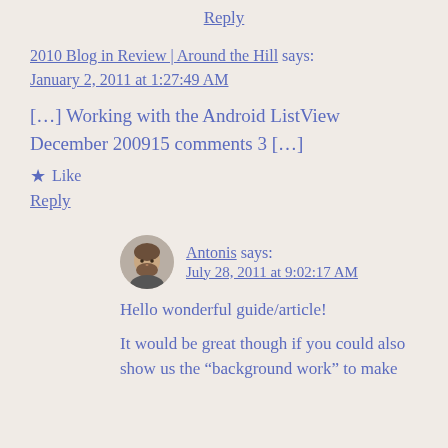Reply
2010 Blog in Review | Around the Hill says:
January 2, 2011 at 1:27:49 AM
[…] Working with the Android ListView December 200915 comments 3 […]
★ Like
Reply
Antonis says:
July 28, 2011 at 9:02:17 AM
Hello wonderful guide/article!
It would be great though if you could also show us the “background work” to make